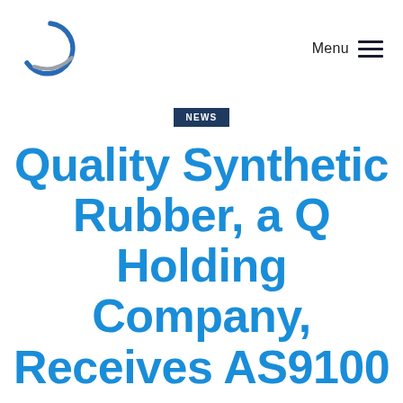[Figure (logo): Q Holding company logo — stylized letter Q in blue and grey arc strokes]
Menu
NEWS
Quality Synthetic Rubber, a Q Holding Company, Receives AS9100